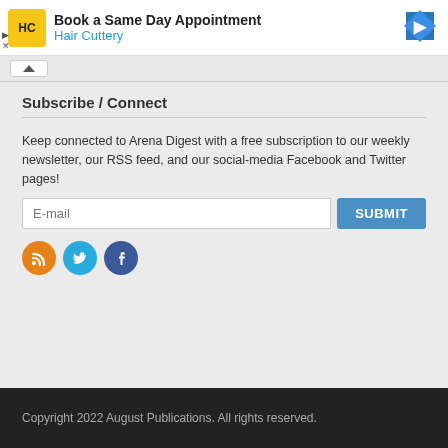[Figure (infographic): Advertisement banner for Hair Cuttery salon with logo, 'Book a Same Day Appointment' headline, and navigation arrow icon. Small play and close controls at bottom-left.]
Subscribe / Connect
Keep connected to Arena Digest with a free subscription to our weekly newsletter, our RSS feed, and our social-media Facebook and Twitter pages!
[Figure (infographic): Email subscription form with E-mail input field and SUBMIT button, plus RSS, Twitter, and Facebook social media icon circles below.]
Copyright 2022 August Publications. All rights reserved.